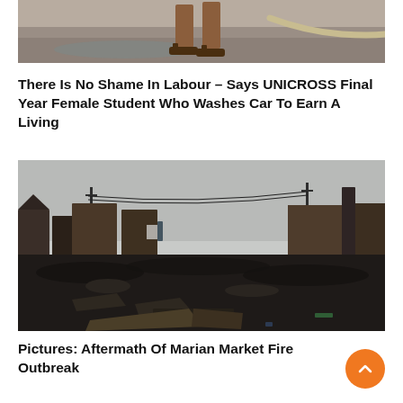[Figure (photo): Cropped photo showing a person's feet with sandals and a hose, car washing context]
There Is No Shame In Labour – Says UNICROSS Final Year Female Student Who Washes Car To Earn A Living
[Figure (photo): Aftermath of Marian Market fire outbreak showing burnt ruins, debris, charred remains of market stalls and structures under overcast sky]
Pictures: Aftermath Of Marian Market Fire Outbreak